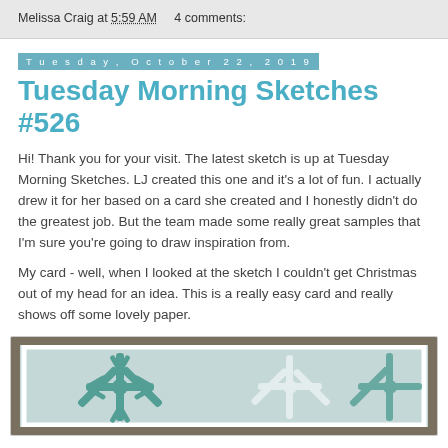Melissa Craig at 5:59 AM    4 comments:
Tuesday, October 22, 2019
Tuesday Morning Sketches #526
Hi!  Thank you for your visit. The latest sketch is up at Tuesday Morning Sketches.  LJ created this one and it's a lot of fun.  I actually drew it for her based on a card she created and I honestly didn't do the greatest job.  But the team made some really great samples that I'm sure you're going to draw inspiration from.
My card - well, when I looked at the sketch I couldn't get Christmas out of my head for an idea.  This is a really easy card and really shows off some lovely paper.
[Figure (photo): Photo of a handmade Christmas card featuring large teal/blue-green snowflake designs on a light blue background, displayed on a brown/tan surface]